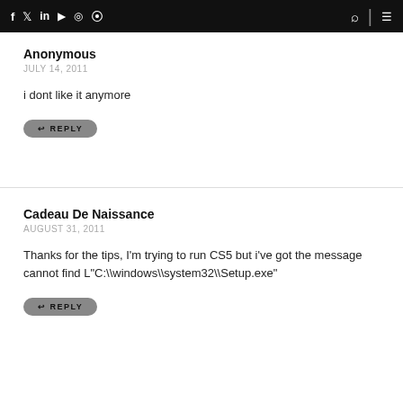f  in  YouTube  Instagram  RSS  [search]  [menu]
Anonymous
JULY 14, 2011
i dont like it anymore
REPLY
Cadeau De Naissance
AUGUST 31, 2011
Thanks for the tips, I'm trying to run CS5 but i've got the message cannot find L"C:\\windows\\system32\\Setup.exe"
REPLY